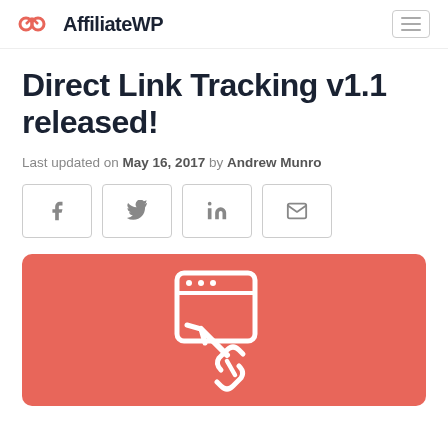AffiliateWP
Direct Link Tracking v1.1 released!
Last updated on May 16, 2017 by Andrew Munro
[Figure (infographic): Social sharing buttons: Facebook, Twitter, LinkedIn, Email]
[Figure (illustration): Red/coral background with white icon showing a browser window with a link/tracking symbol inside]